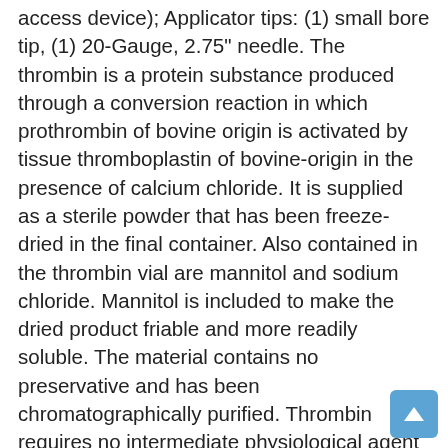access device); Applicator tips: (1) small bore tip, (1) 20-Gauge, 2.75" needle. The thrombin is a protein substance produced through a conversion reaction in which prothrombin of bovine origin is activated by tissue thromboplastin of bovine-origin in the presence of calcium chloride. It is supplied as a sterile powder that has been freeze-dried in the final container. Also contained in the thrombin vial are mannitol and sodium chloride. Mannitol is included to make the dried product friable and more readily soluble. The material contains no preservative and has been chromatographically purified. Thrombin requires no intermediate physiological agent for its reaction. It converts fibrinogen directly to fibrin. The collagen is a soft, white, pliable, absorbent hemostatic agent derived from purified bovine deep flexor tendon. It is prepared in a loose fibrous form. Collagen attracts platelets that adhere to the fibrils and undergo the release phenomenon to trigger aggregation of platelets into thrombi in the interstices of the fibrous mass. The collagen provides a three-dimensional